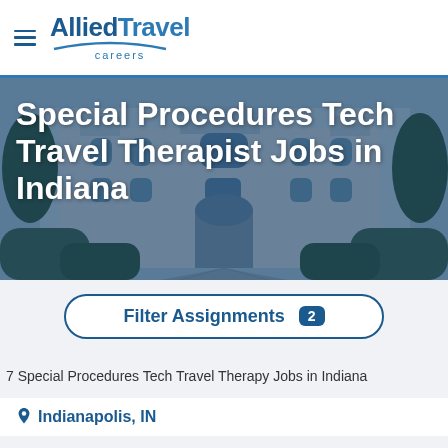[Figure (logo): Allied Travel Careers logo with hamburger menu icon]
Special Procedures Tech Travel Therapist Jobs in Indiana
[Figure (photo): Building exterior with walkway, overlaid with blue tint]
Filter Assignments 2
7 Special Procedures Tech Travel Therapy Jobs in Indiana
Indianapolis, IN